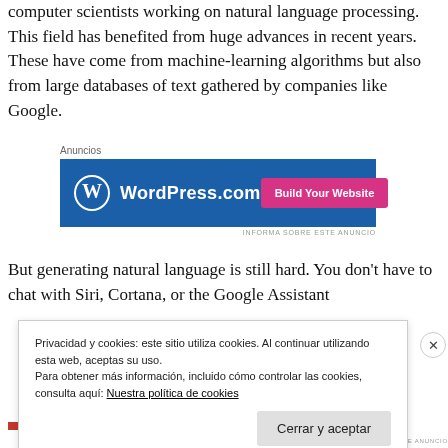computer scientists working on natural language processing. This field has benefited from huge advances in recent years. These have come from machine-learning algorithms but also from large databases of text gathered by companies like Google.
[Figure (screenshot): WordPress.com advertisement banner with blue background, WordPress logo, and 'Build Your Website' pink button]
But generating natural language is still hard. You don't have to chat with Siri, Cortana, or the Google Assistant
Privacidad y cookies: este sitio utiliza cookies. Al continuar utilizando esta web, aceptas su uso.
Para obtener más información, incluido cómo controlar las cookies, consulta aquí: Nuestra política de cookies
Cerrar y aceptar